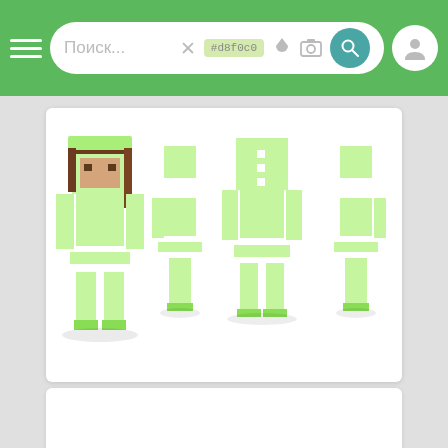Поиск... #d8f0c0
[Figure (screenshot): Minecraft skin preview showing a female character in a light green outfit with white trim, shown from front, side, back, and side views. The character has brown hair and a green hat/hood.]
FreydisMaria
64x64  👁 250  ⬇ 8